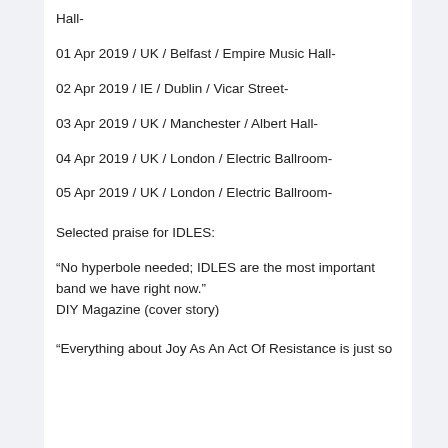Hall-
01 Apr 2019 / UK / Belfast / Empire Music Hall-
02 Apr 2019 / IE / Dublin / Vicar Street-
03 Apr 2019 / UK / Manchester / Albert Hall-
04 Apr 2019 / UK / London / Electric Ballroom-
05 Apr 2019 / UK / London / Electric Ballroom-
Selected praise for IDLES:
“No hyperbole needed; IDLES are the most important band we have right now.”
DIY Magazine (cover story)
“Everything about Joy As An Act Of Resistance is just so